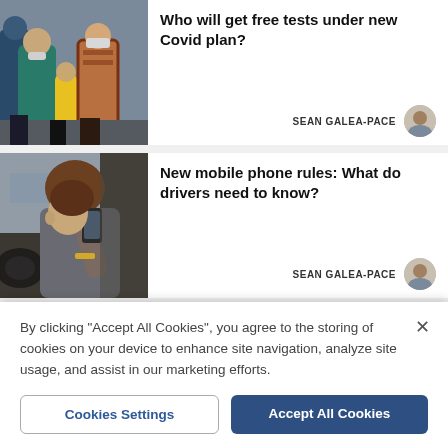[Figure (photo): People walking on a street wearing masks and colourful clothing]
Who will get free tests under new Covid plan?
SEAN GALEA-PACE
[Figure (photo): Person using a mobile phone while driving a car]
New mobile phone rules: What do drivers need to know?
SEAN GALEA-PACE
[Figure (photo): Partial view of a third news card image (cropped)]
By clicking "Accept All Cookies", you agree to the storing of cookies on your device to enhance site navigation, analyze site usage, and assist in our marketing efforts.
Cookies Settings
Accept All Cookies